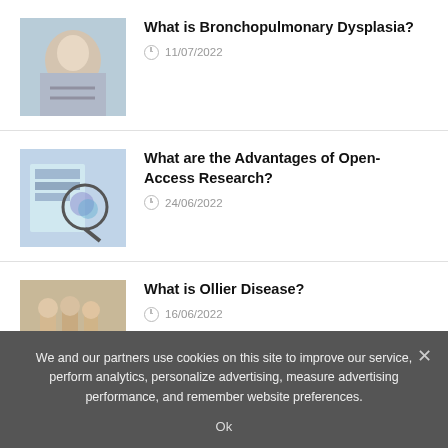[Figure (photo): Thumbnail image of a baby/infant for Bronchopulmonary Dysplasia article]
What is Bronchopulmonary Dysplasia?
11/07/2022
[Figure (photo): Thumbnail image with magnifying glass over charts for Open-Access Research article]
What are the Advantages of Open-Access Research?
24/06/2022
[Figure (photo): Thumbnail image of feet/legs for Ollier Disease article]
What is Ollier Disease?
16/06/2022
[Figure (illustration): Thumbnail image with stick figures for sleep positions article]
A Guide to Healthy Sleep Positions
We and our partners use cookies on this site to improve our service, perform analytics, personalize advertising, measure advertising performance, and remember website preferences.